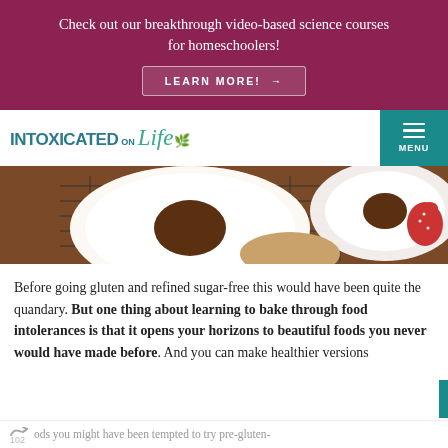Check out our breakthrough video-based science courses for homeschoolers!
[Figure (screenshot): LEARN MORE! button with arrow on dark magenta background]
[Figure (logo): Intoxicated on Life logo with teal text and green leaf]
[Figure (photo): White-frosted donuts on a wire cooling rack with a strawberry, food photograph]
Before going gluten and refined sugar-free this would have been quite the quandary. But one thing about learning to bake through food intolerances is that it opens your horizons to beautiful foods you never would have made before. And you can make healthier versions of foods you might have been tempted to try pre-gluten-